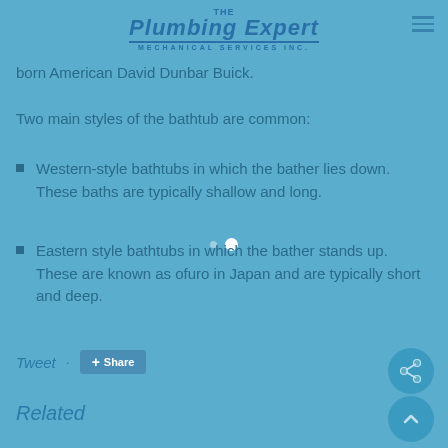The Plumbing Expert Mechanical Services Inc.
born American David Dunbar Buick.
Two main styles of the bathtub are common:
Western-style bathtubs in which the bather lies down. These baths are typically shallow and long.
Eastern style bathtubs in which the bather stands up. These are known as ofuro in Japan and are typically short and deep.
Tweet:
Related